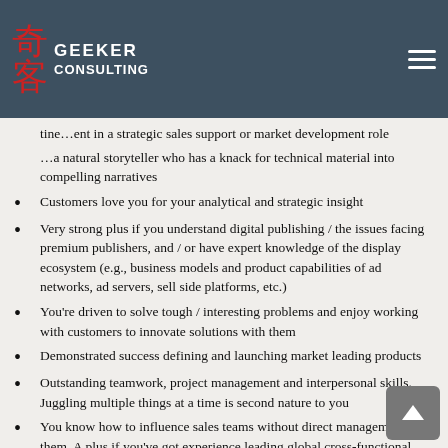Geeker Consulting
tine…ent in a strategic sales support or market development role
…a natural storyteller who has a knack for technical material into compelling narratives
Customers love you for your analytical and strategic insight
Very strong plus if you understand digital publishing / the issues facing premium publishers, and / or have expert knowledge of the display ecosystem (e.g., business models and product capabilities of ad networks, ad servers, sell side platforms, etc.)
You're driven to solve tough / interesting problems and enjoy working with customers to innovate solutions with them
Demonstrated success defining and launching market leading products
Outstanding teamwork, project management and interpersonal skills. Juggling multiple things at a time is second nature to you
You know how to influence sales teams without direct management of them. A plus if you've got experience leading global cross-functional teams
Self-starter who is hungry to take on new professional challenges